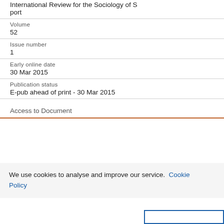International Review for the Sociology of Sport
Volume
52
Issue number
1
Early online date
30 Mar 2015
Publication status
E-pub ahead of print - 30 Mar 2015
Access to Document
We use cookies to analyse and improve our service. Cookie Policy